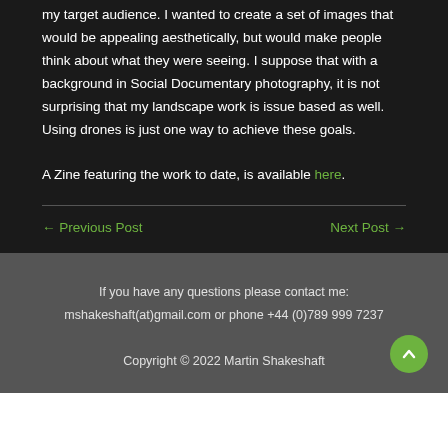my target audience. I wanted to create a set of images that would be appealing aesthetically, but would make people think about what they were seeing. I suppose that with a background in Social Documentary photography, it is not surprising that my landscape work is issue based as well. Using drones is just one way to achieve these goals.
A Zine featuring the work to date, is available here.
← Previous Post
Next Post →
If you have any questions please contact me:
mshakeshaft(at)gmail.com or phone +44 (0)789 999 7237
Copyright © 2022 Martin Shakeshaft